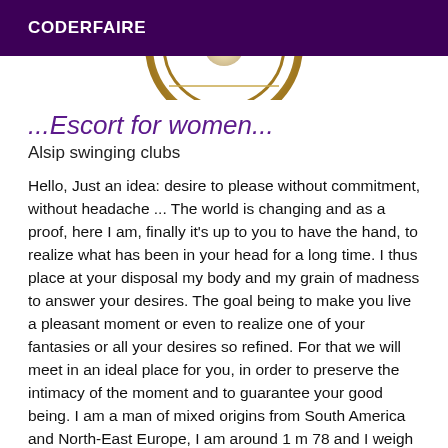CODERFAIRE
[Figure (illustration): Partial view of a golden circular logo/emblem on white background strip]
...Escort for women...
Alsip swinging clubs
Hello, Just an idea: desire to please without commitment, without headache ... The world is changing and as a proof, here I am, finally it's up to you to have the hand, to realize what has been in your head for a long time. I thus place at your disposal my body and my grain of madness to answer your desires. The goal being to make you live a pleasant moment or even to realize one of your fantasies or all your desires so refined. For that we will meet in an ideal place for you, in order to preserve the intimacy of the moment and to guarantee your good being. I am a man of mixed origins from South America and North-East Europe, I am around 1 m 78 and I weigh around 60 kilos, I am 38 years old, my hair is salt and pepper long enough to